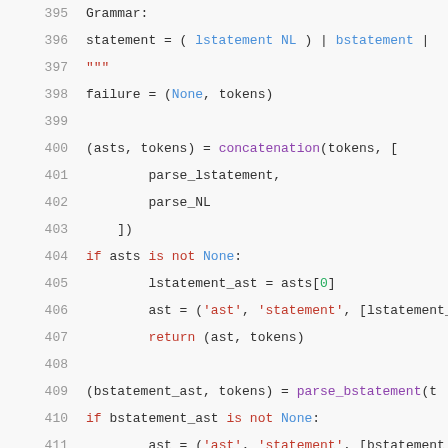395   Grammar:
396   statement = ( lstatement NL ) | bstatement |
397   """
398   failure = (None, tokens)
399
400   (asts, tokens) = concatenation(tokens, [
401       parse_lstatement,
402       parse_NL
403   ])
404   if asts is not None:
405       lstatement_ast = asts[0]
406       ast = ('ast', 'statement', [lstatement_as
407       return (ast, tokens)
408
409   (bstatement_ast, tokens) = parse_bstatement(t
410   if bstatement_ast is not None:
411       ast = ('ast', 'statement', [bstatement_as
412       return (ast, tokens)
413
414   (include_ast, tokens) = parse_include(tokens)
415   if include_ast is not None:
416       ast = ('ast', 'statement', [include_ast])